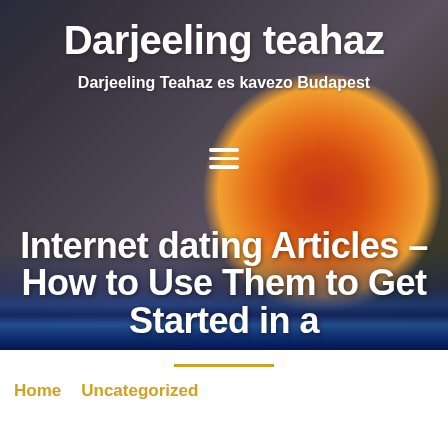[Figure (screenshot): Website header with blurred background showing books and a red apple. Dark chalkboard-style background.]
Darjeeling teahaz
Darjeeling Teahaz es kavezo Budapest
Internet dating Articles – How to Use Them to Get Started in a
Home   Uncategorized